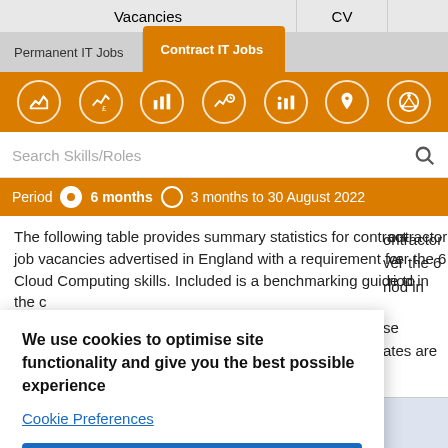Vacancies | CV
Permanent IT Jobs | Contract IT Jobs
[Figure (screenshot): Orange navigation icon bar with 7 circular white icons for contract IT jobs navigation]
Search Skills/Roles
Period ⦿ 6 months ○ 3 months to 30 August 2022
The following table provides summary statistics for contract job vacancies advertised in England with a requirement for Cloud Computing skills. Included is a benchmarking guide to the contractor rates are over the 6 period in
We use cookies to optimise site functionality and give you the best possible experience
Cookie Preferences
Accept
6 months to | Same | Same